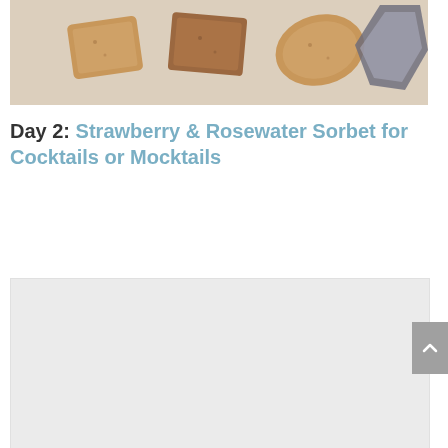[Figure (photo): Top portion of a photo showing various shaped cookies/biscuits on a light fabric background. Cookies appear to be rectangular and leaf-shaped with textured surfaces.]
Day 2: Strawberry & Rosewater Sorbet for Cocktails or Mocktails
[Figure (other): A light gray placeholder rectangle, likely a loading or blank image area for a recipe photo.]